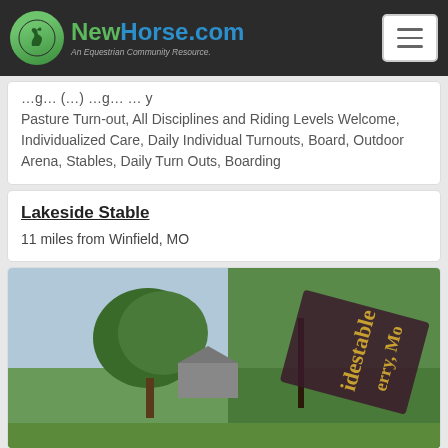NewHorse.com — An Equestrian Community Resource.
Pasture Turn-out, All Disciplines and Riding Levels Welcome, Individualized Care, Daily Individual Turnouts, Board, Outdoor Arena, Stables, Daily Turn Outs, Boarding
Lakeside Stable
11 miles from Winfield, MO
[Figure (photo): Outdoor photo of Lakeside Stable sign on a grassy lawn with trees in the background. Sign text reads 'idestable' and 'erry, Mo' (partially visible). A barn structure is visible in the background.]